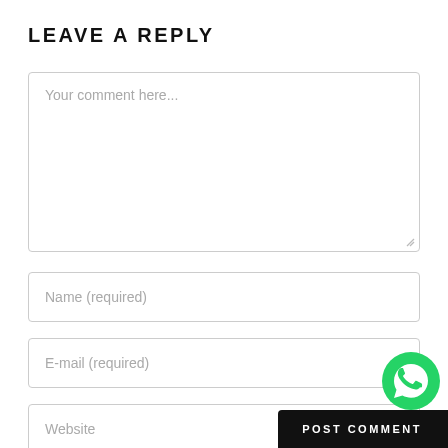LEAVE A REPLY
Your comment here...
Name (required)
E-mail (required)
Website
[Figure (logo): WhatsApp green circle button with phone handset icon]
POST COMMENT